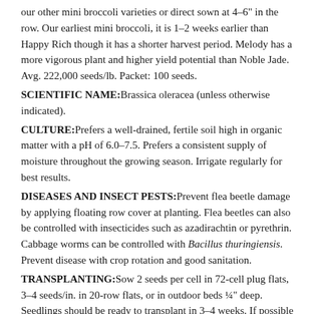our other mini broccoli varieties or direct sown at 4–6" in the row. Our earliest mini broccoli, it is 1–2 weeks earlier than Happy Rich though it has a shorter harvest period. Melody has a more vigorous plant and higher yield potential than Noble Jade. Avg. 222,000 seeds/lb. Packet: 100 seeds. SCIENTIFIC NAME: Brassica oleracea (unless otherwise indicated). CULTURE: Prefers a well-drained, fertile soil high in organic matter with a pH of 6.0–7.5. Prefers a consistent supply of moisture throughout the growing season. Irrigate regularly for best results. DISEASES AND INSECT PESTS: Prevent flea beetle damage by applying floating row cover at planting. Flea beetles can also be controlled with insecticides such as azadirachtin or pyrethrin. Cabbage worms can be controlled with Bacillus thuringiensis. Prevent disease with crop rotation and good sanitation. TRANSPLANTING: Sow 2 seeds per cell in 72-cell plug flats, 3–4 seeds/in. in 20-row flats, or in outdoor beds ¼" deep. Seedlings should be ready to transplant in 3–4 weeks. If possible keep soil temperature 75–80°F (24–27°C) until germination, then reduce air temperature to about 60°F (16°C). Ensure good air circulation and light. Transplant outdoors 6–12" apart for spring raab and 12–24" apart for sprouting broccoli in rows 18–36" apart. DIRECT SEEDING: Sow 3 seeds per foot, ¼" deep, rows 18–36" apart.